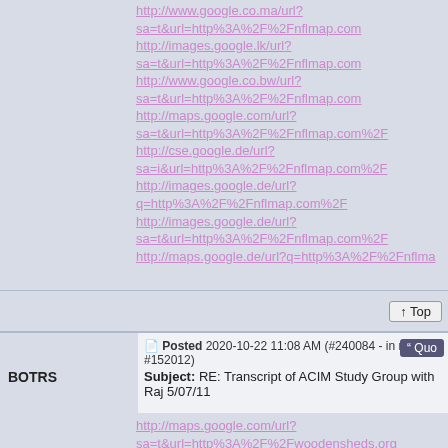http://www.google.co.ma/url?sa=t&url=http%3A%2F%2Fnflmap.com
http://images.google.lk/url?sa=t&url=http%3A%2F%2Fnflmap.com
http://www.google.co.bw/url?sa=t&url=http%3A%2F%2Fnflmap.com
http://maps.google.com/url?sa=t&url=http%3A%2F%2Fnflmap.com%2F
http://cse.google.de/url?sa=i&url=http%3A%2F%2Fnflmap.com%2F
http://images.google.de/url?q=http%3A%2F%2Fnflmap.com%2F
http://images.google.de/url?sa=t&url=http%3A%2F%2Fnflmap.com%2F
http://maps.google.de/url?q=http%3A%2F%2Fnflma
Posted 2020-10-22 11:08 AM (#240084 - in reply to #152012)
Subject: RE: Transcript of ACIM Study Group with Raj 5/07/11
BOTRS
http://maps.google.com/url?sa=t&url=http%3A%2F%2Fwoodensheds.org
http://images.google.de/url?sa=t&url=http%3A%2F%2Fwoodensheds.org
http://images.google.co.uk/url?